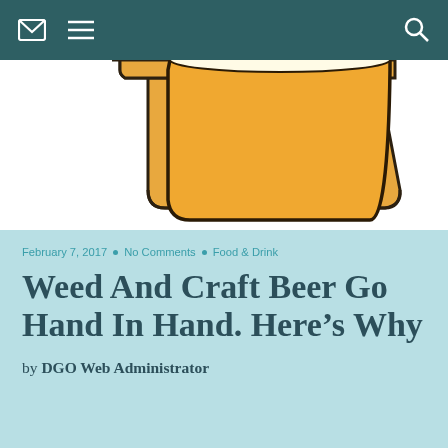[navigation bar with email icon, menu icon, search icon]
[Figure (illustration): Partial illustration of a beer mug (amber/orange colored) and what appears to be a white cigarette or joint on a white background]
February 7, 2017 · No Comments · Food & Drink
Weed And Craft Beer Go Hand In Hand. Here's Why
by DGO Web Administrator